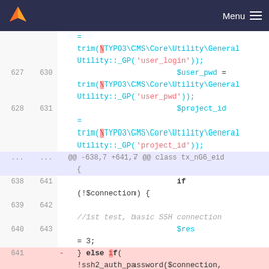Menu
Code diff view showing PHP code lines 627-641
627 630   $user_pwd = trim(\TYPO3\CMS\Core\Utility\GeneralUtility::_GP('user_login'));
628 631   $project_id = trim(\TYPO3\CMS\Core\Utility\GeneralUtility::_GP('user_pwd'));
... ...   @@ -638,7 +641,7 @@ class tx_nG6_eid {
638 641   if (!$connection) {
639 642   //1st test, basic SSH connection
640 643   $res = 3;
641     - } else if(!ssh2_auth_password($connection, $user_login,$user_pwd ) ){